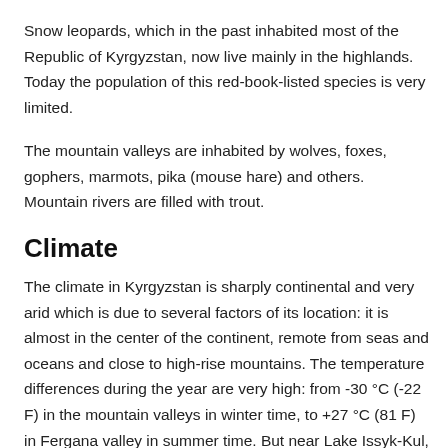Snow leopards, which in the past inhabited most of the Republic of Kyrgyzstan, now live mainly in the highlands. Today the population of this red-book-listed species is very limited.
The mountain valleys are inhabited by wolves, foxes, gophers, marmots, pika (mouse hare) and others. Mountain rivers are filled with trout.
Climate
The climate in Kyrgyzstan is sharply continental and very arid which is due to several factors of its location: it is almost in the center of the continent, remote from seas and oceans and close to high-rise mountains. The temperature differences during the year are very high: from -30 °C (-22 F) in the mountain valleys in winter time, to +27 °C (81 F) in Fergana valley in summer time. But near Lake Issyk-Kul,